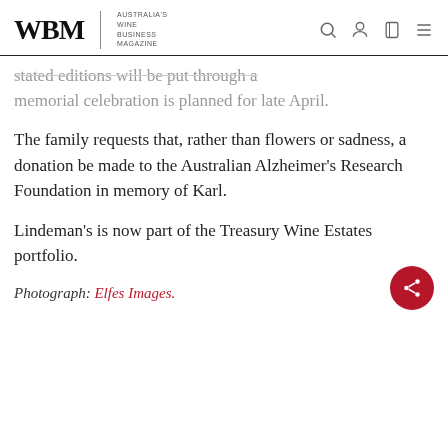WBM — Australia's Wine Business Magazine
...stated editions will be put through a memorial celebration is planned for late April.
The family requests that, rather than flowers or sadness, a donation be made to the Australian Alzheimer's Research Foundation in memory of Karl.
Lindeman's is now part of the Treasury Wine Estates portfolio.
Photograph: Elfes Images.